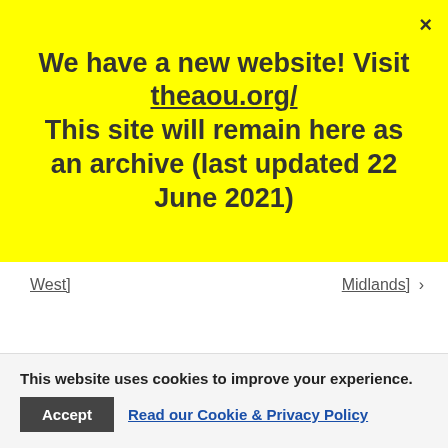We have a new website! Visit theaou.org/ This site will remain here as an archive (last updated 22 June 2021)
West]
Midlands] ›
This website uses cookies to improve your experience.
Accept
Read our Cookie & Privacy Policy